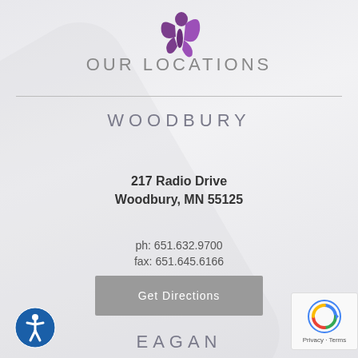[Figure (logo): Purple butterfly/woman silhouette logo at top center]
OUR LOCATIONS
WOODBURY
217 Radio Drive
Woodbury, MN 55125
ph: 651.632.9700
fax: 651.645.6166
Get Directions
EAGAN